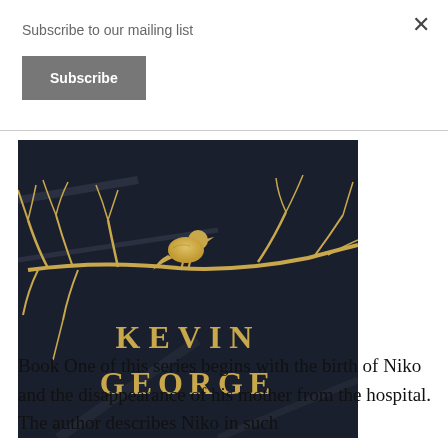Subscribe to our mailing list
Subscribe
×
[Figure (illustration): Book cover with dark background showing golden branches and a bird silhouette perched on a branch. Text reads 'KEVIN GEORGE' in gold serif letters.]
Book One of this series begins with the birth of Niko and the disappearance of his mother from the hospital. The author describes Niko in such